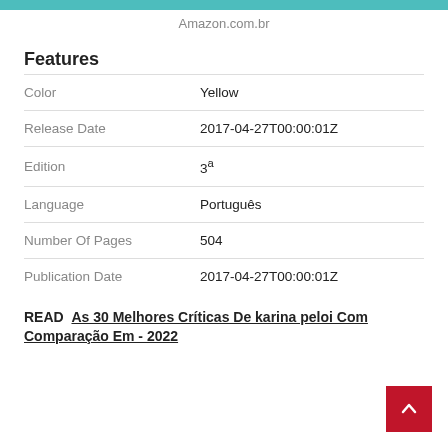Amazon.com.br
Features
| Color | Yellow |
| Release Date | 2017-04-27T00:00:01Z |
| Edition | 3ª |
| Language | Português |
| Number Of Pages | 504 |
| Publication Date | 2017-04-27T00:00:01Z |
READ  As 30 Melhores Críticas De karina peloi Com Comparação Em - 2022